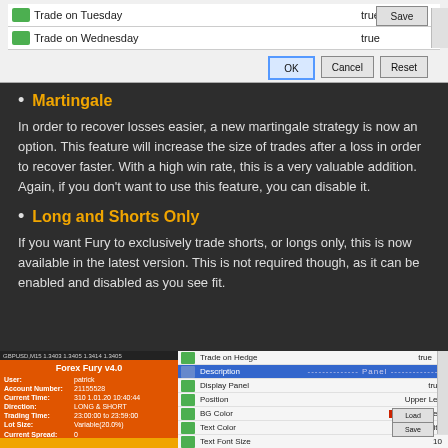[Figure (screenshot): Dialog window showing trade settings rows (Trade on Tuesday: true, Trade on Wednesday: true) with Save button and OK/Cancel/Reset buttons at bottom]
Martingale
In order to recover losses easier, a new martingale strategy is now an option. This feature will increase the size of trades after a loss in order to recover faster. With a high win rate, this is a very valuable addition. Again, if you don't want to use this feature, you can disable it.
Long and Shorts Only
If you want Fury to exclusively trade shorts, or longs only, this is now available in the latest version. This is not required though, as it can be enabled and disabled as you see fit.
[Figure (screenshot): Two-panel screenshot: left panel shows orange trading panel with account info (Forex Fury v4.0, user: patrick, Account Number: 21155528, etc.), right panel shows settings dialog with rows like Trade on Hedge, Description, Display Panel, Position, BG Color: OrangeRed, Text Color: White, Text Font Size: 10, Offset X: 15, Offset Y: To, with Load and Save buttons]